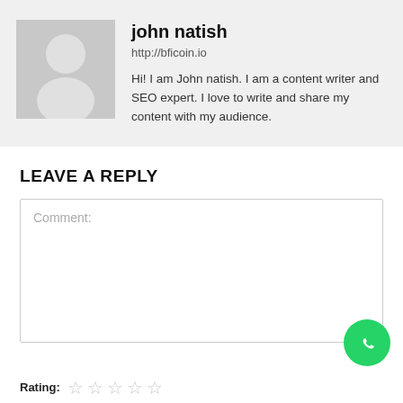[Figure (photo): Grey silhouette avatar placeholder image for user profile]
john natish
http://bficoin.io
Hi! I am John natish. I am a content writer and SEO expert. I love to write and share my content with my audience.
LEAVE A REPLY
Comment:
[Figure (logo): WhatsApp green circle button with phone handset icon]
Rating: